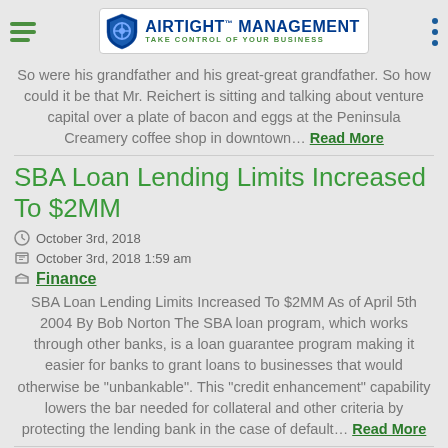Airtight Management - Take Control of Your Business
So were his grandfather and his great-great grandfather. So how could it be that Mr. Reichert is sitting and talking about venture capital over a plate of bacon and eggs at the Peninsula Creamery coffee shop in downtown… Read More
SBA Loan Lending Limits Increased To $2MM
October 3rd, 2018
October 3rd, 2018 1:59 am
Finance
SBA Loan Lending Limits Increased To $2MM As of April 5th 2004 By Bob Norton The SBA loan program, which works through other banks, is a loan guarantee program making it easier for banks to grant loans to businesses that would otherwise be "unbankable". This "credit enhancement" capability lowers the bar needed for collateral and other criteria by protecting the lending bank in the case of default… Read More
Recommend Reading For CEOs